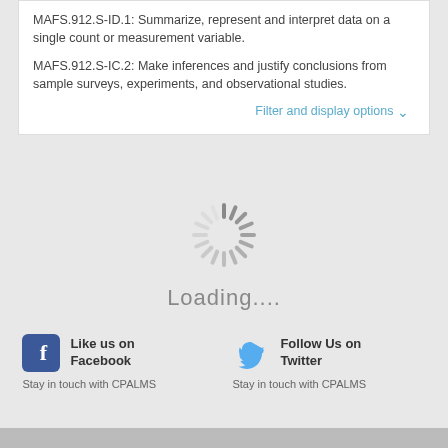MAFS.912.S-ID.1: Summarize, represent and interpret data on a single count or measurement variable.
MAFS.912.S-IC.2: Make inferences and justify conclusions from sample surveys, experiments, and observational studies.
Filter and display options ∨
[Figure (infographic): Loading spinner — a circular arrangement of short gray radial lines forming a sunburst/loader animation, with the text 'Loading....' below it in gray.]
Like us on Facebook
Stay in touch with CPALMS
Follow Us on Twitter
Stay in touch with CPALMS